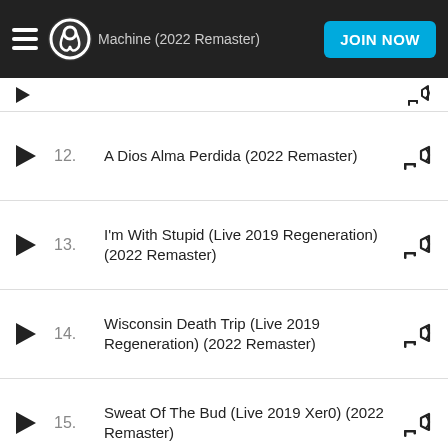Machine (2022 Remaster) — Napster header with JOIN NOW button
12. A Dios Alma Perdida (2022 Remaster)
13. I'm With Stupid (Live 2019 Regeneration) (2022 Remaster)
14. Wisconsin Death Trip (Live 2019 Regeneration) (2022 Remaster)
15. Sweat Of The Bud (Live 2019 Xer0) (2022 Remaster)